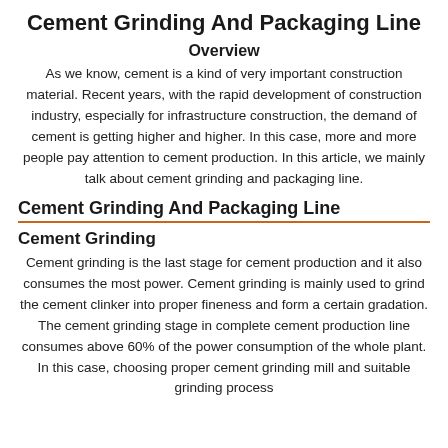Cement Grinding And Packaging Line
Overview
As we know, cement is a kind of very important construction material. Recent years, with the rapid development of construction industry, especially for infrastructure construction, the demand of cement is getting higher and higher. In this case, more and more people pay attention to cement production. In this article, we mainly talk about cement grinding and packaging line.
Cement Grinding And Packaging Line
Cement Grinding
Cement grinding is the last stage for cement production and it also consumes the most power. Cement grinding is mainly used to grind the cement clinker into proper fineness and form a certain gradation. The cement grinding stage in complete cement production line consumes above 60% of the power consumption of the whole plant. In this case, choosing proper cement grinding mill and suitable grinding process